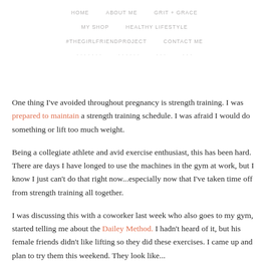HOME   ABOUT ME   GRIT + GRACE   MY SHOP   HEALTHY LIFESTYLE   #THEGIRLFRIENDPROJECT   CONTACT ME
One thing I've avoided throughout pregnancy is strength training. I was prepared to maintain a strength training schedule. I was afraid I would do something or lift too much weight.
Being a collegiate athlete and avid exercise enthusiast, this has been hard. There are days I have longed to use the machines in the gym at work, but I know I just can't do that right now...especially now that I've taken time off from strength training all together.
I was discussing this with a coworker last week who also goes to my gym, started telling me about the Dailey Method. I hadn't heard of it, but his female friends didn't like lifting so they did these exercises. I came up and plan to try them this weekend. They look like...